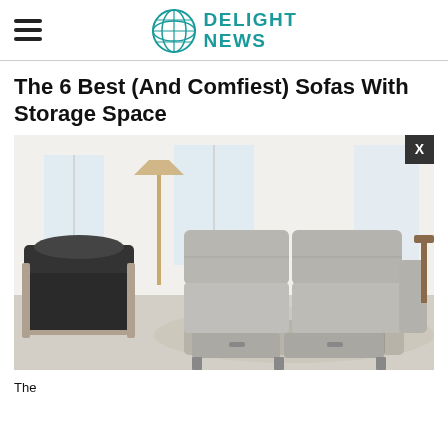DELIGHT NEWS
The 6 Best (And Comfiest) Sofas With Storage Space
[Figure (photo): A light gray sectional sofa with storage space underneath the ottoman sections, displayed in a bright living room setting. A dark armchair with metal frame is visible in the foreground left. An 'X' close button appears in the upper right of the image.]
The